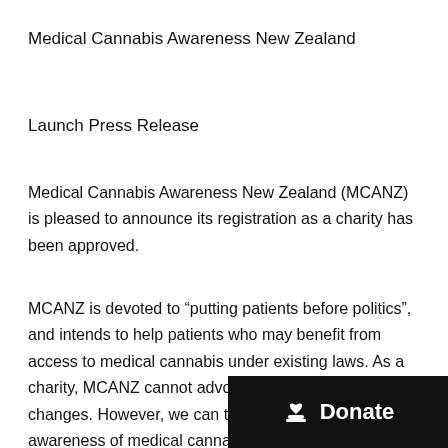Medical Cannabis Awareness New Zealand
Launch Press Release
Medical Cannabis Awareness New Zealand (MCANZ) is pleased to announce its registration as a charity has been approved.
MCANZ is devoted to “putting patients before politics”, and intends to help patients who may benefit from access to medical cannabis under existing laws. As a charity, MCANZ cannot advocate for any specific law changes. However, we can take a role in increasing awareness of medical cannabis use in New Zealand.
[Figure (other): Donate button overlay — black rectangle with heart/hand icon and white text reading 'Donate']